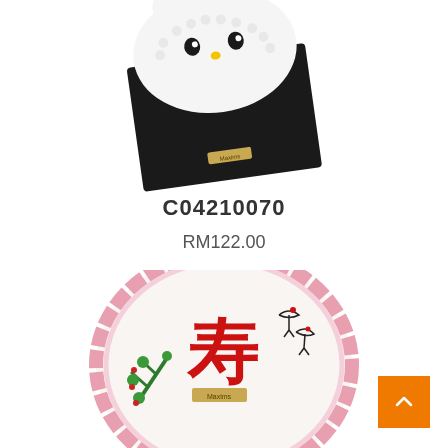[Figure (photo): Hello Kitty themed cake with white cream decoration on a black square base, viewed from above at an angle]
C04210070
RM122.00
[Figure (photo): Round cake with decorative Chinese longevity design — red Chinese character, cranes, green pine branches, and pink scalloped border — viewed from above]
[Figure (other): Orange scroll-to-top button with upward chevron arrow in the bottom-right corner]